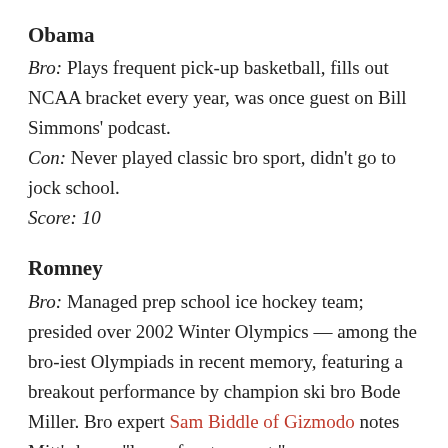Obama
Bro: Plays frequent pick-up basketball, fills out NCAA bracket every year, was once guest on Bill Simmons' podcast.
Con: Never played classic bro sport, didn't go to jock school.
Score: 10
Romney
Bro: Managed prep school ice hockey team; presided over 2002 Winter Olympics — among the bro-iest Olympiads in recent memory, featuring a breakout performance by champion ski bro Bode Miller. Bro expert Sam Biddle of Gizmodo notes Mitt's bro-y "love of water sport."